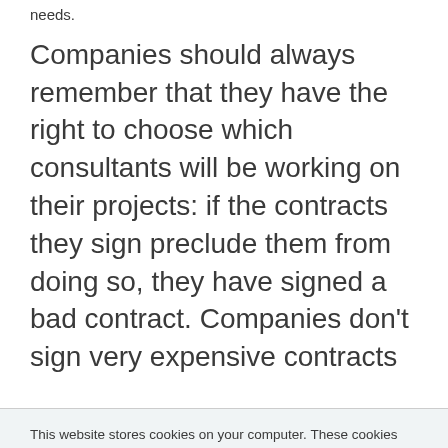needs.
Companies should always remember that they have the right to choose which consultants will be working on their projects: if the contracts they sign preclude them from doing so, they have signed a bad contract. Companies don't sign very expensive contracts
This website stores cookies on your computer. These cookies are used to collect information about how you interact with our website and allow us to remember you. We use this information in order to improve and customize your browsing experience and for analytics and metrics about our visitors both on this website and other media. To find out more about the cookies we use, see our Privacy Policy.
If you decline, your information won't be tracked when you visit this website. A single cookie will be used in your browser to remember your preference not to be tracked.
Accept
Decline